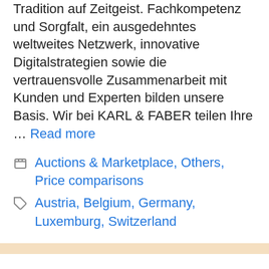Tradition auf Zeitgeist. Fachkompetenz und Sorgfalt, ein ausgedehntes weltweites Netzwerk, innovative Digitalstrategien sowie die vertrauensvolle Zusammenarbeit mit Kunden und Experten bilden unsere Basis. Wir bei KARL & FABER teilen Ihre … Read more
Categories: Auctions & Marketplace, Others, Price comparisons
Tags: Austria, Belgium, Germany, Luxemburg, Switzerland
From tech connectivity and security to desk organization and health and wellness ACCO Brands Corporation